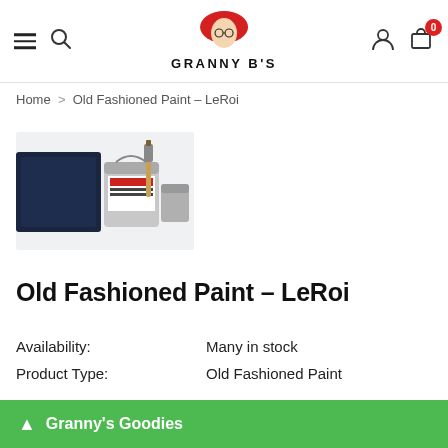Granny B's — navigation header with hamburger menu, search, logo, user icon, cart (0)
Home > Old Fashioned Paint – LeRoi
[Figure (photo): Product photo showing a dark navy blue paint tin with a paint brush and a smaller paint can, set against a light background.]
Old Fashioned Paint – LeRoi
Availability:	Many in stock
Product Type:	Old Fashioned Paint
▲ Granny's Goodies